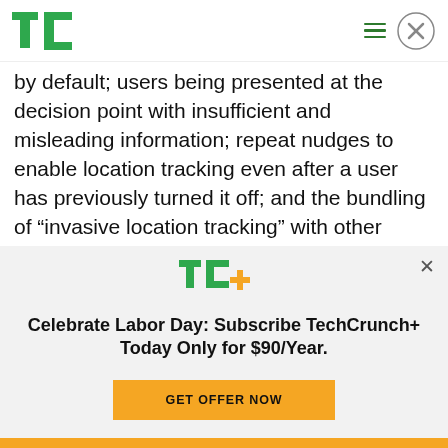TechCrunch header with logo, hamburger menu, and close button
by default; users being presented at the decision point with insufficient and misleading information; repeat nudges to enable location tracking even after a user has previously turned it off; and the bundling of “invasive location tracking” with other unrelated Google services, such as photo sorting by location.
[Figure (logo): TechCrunch TC+ logo in green and yellow]
Celebrate Labor Day: Subscribe TechCrunch+ Today Only for $90/Year.
GET OFFER NOW